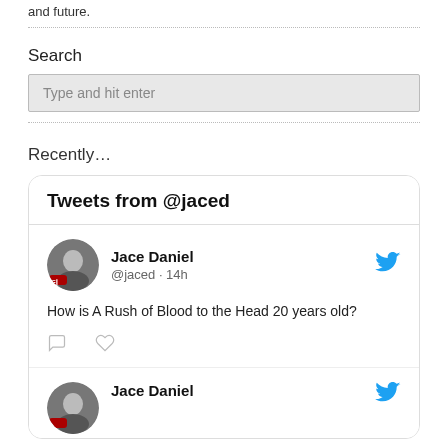and future.
Search
Type and hit enter
Recently…
[Figure (screenshot): Twitter widget showing 'Tweets from @jaced' header, and a tweet by Jace Daniel (@jaced · 14h) reading 'How is A Rush of Blood to the Head 20 years old?' with comment and like icons, and a second tweet card by Jace Daniel.]